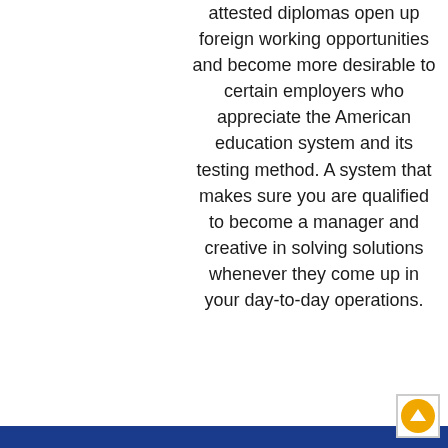attested diplomas open up foreign working opportunities and become more desirable to certain employers who appreciate the American education system and its testing method. A system that makes sure you are qualified to become a manager and creative in solving solutions whenever they come up in your day-to-day operations.